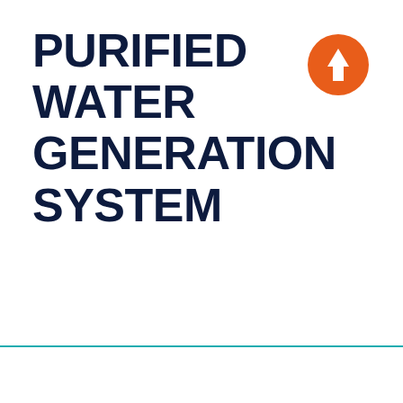PURIFIED WATER GENERATION SYSTEM
[Figure (illustration): Orange circle with white upward arrow icon]